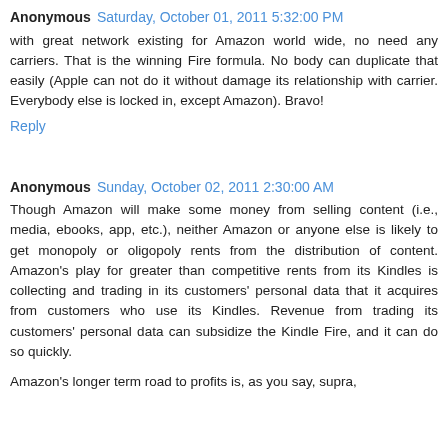Anonymous  Saturday, October 01, 2011 5:32:00 PM
with great network existing for Amazon world wide, no need any carriers. That is the winning Fire formula. No body can duplicate that easily (Apple can not do it without damage its relationship with carrier. Everybody else is locked in, except Amazon). Bravo!
Reply
Anonymous  Sunday, October 02, 2011 2:30:00 AM
Though Amazon will make some money from selling content (i.e., media, ebooks, app, etc.), neither Amazon or anyone else is likely to get monopoly or oligopoly rents from the distribution of content. Amazon's play for greater than competitive rents from its Kindles is collecting and trading in its customers' personal data that it acquires from customers who use its Kindles. Revenue from trading its customers' personal data can subsidize the Kindle Fire, and it can do so quickly.
Amazon's longer term road to profits is, as you say, supra,